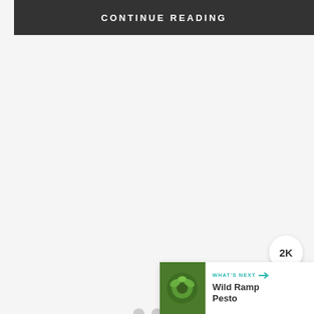CONTINUE READING
[Figure (other): Three gray loading dots indicating content is loading]
[Figure (other): Teal circular heart/like button with heart icon, showing 2K likes count, and a share button below]
[Figure (other): What's Next card showing a thumbnail of Wild Ramp Pesto with label 'WHAT'S NEXT' and arrow]